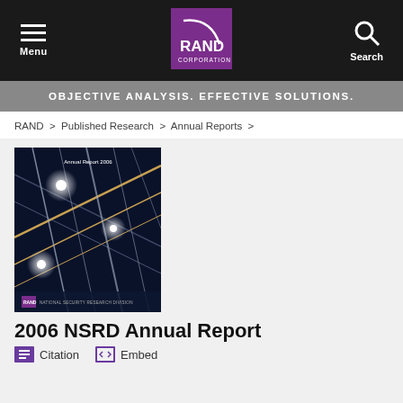Menu | RAND Corporation | Search
OBJECTIVE ANALYSIS. EFFECTIVE SOLUTIONS.
RAND > Published Research > Annual Reports >
[Figure (illustration): Book cover of the 2006 NSRD Annual Report showing a dark blue geometric grid pattern with bright light starbursts at intersections and gold diagonal lines. Text reads 'Annual Report 2006' and 'NATIONAL SECURITY RESEARCH DIVISION' at the bottom with the RAND logo.]
2006 NSRD Annual Report
Citation   Embed